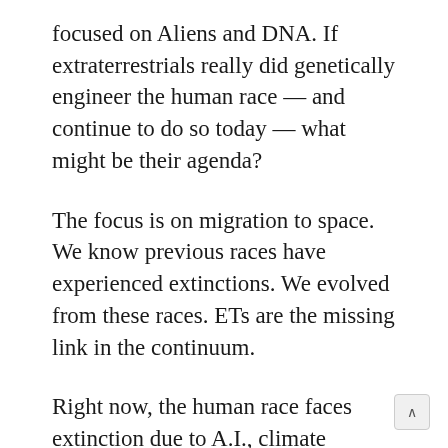focused on Aliens and DNA. If extraterrestrials really did genetically engineer the human race — and continue to do so today — what might be their agenda?
The focus is on migration to space. We know previous races have experienced extinctions. We evolved from these races. ETs are the missing link in the continuum.
Right now, the human race faces extinction due to A.I., climate change and the threat of nuclear war. We need to